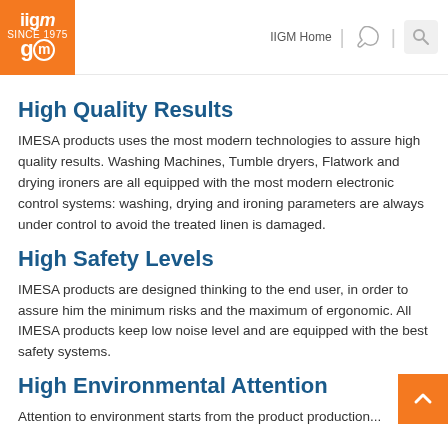iigm | IIGM Home | [phone icon] | [search icon]
High Quality Results
IMESA products uses the most modern technologies to assure high quality results. Washing Machines, Tumble dryers, Flatwork and drying ironers are all equipped with the most modern electronic control systems: washing, drying and ironing parameters are always under control to avoid the treated linen is damaged.
High Safety Levels
IMESA products are designed thinking to the end user, in order to assure him the minimum risks and the maximum of ergonomic. All IMESA products keep low noise level and are equipped with the best safety systems.
High Environmental Attention
Attention to environment starts from the product production...